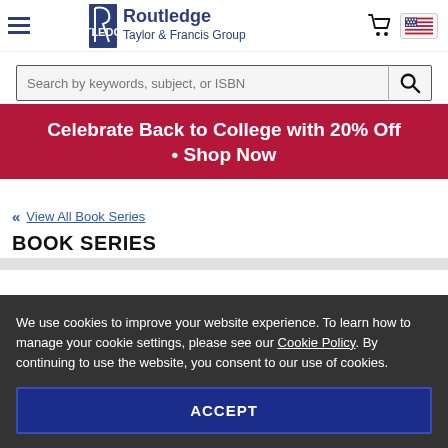[Figure (logo): Routledge Taylor & Francis Group logo with hamburger menu, cart icon, and US flag button]
Search by keywords, subject, or ISBN
Celebrate Back to College with 20% Off • Shop Now
« View All Book Series
BOOK SERIES
We use cookies to improve your website experience. To learn how to manage your cookie settings, please see our Cookie Policy. By continuing to use the website, you consent to our use of cookies.
ACCEPT